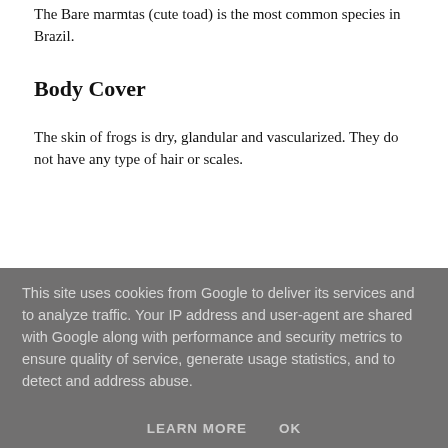The Bare marmtas (cute toad) is the most common species in Brazil.
Body Cover
The skin of frogs is dry, glandular and vascularized. They do not have any type of hair or scales.
This site uses cookies from Google to deliver its services and to analyze traffic. Your IP address and user-agent are shared with Google along with performance and security metrics to ensure quality of service, generate usage statistics, and to detect and address abuse.
LEARN MORE   OK